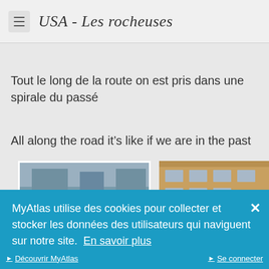USA - Les rocheuses
Tout le long de la route on est pris dans une spirale du passé
All along the road it's like if we are in the past
[Figure (photo): Two partially visible photos: left shows a street scene, right shows a building with yellow walls and windows]
MyAtlas utilise des cookies pour collecter et stocker les données des utilisateurs qui naviguent sur notre site. En savoir plus
J'accepte
Découvrir MyAtlas    Se connecter